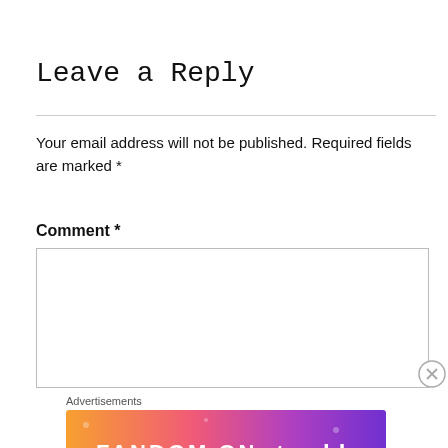Leave a Reply
Your email address will not be published. Required fields are marked *
Comment *
Advertisements
[Figure (illustration): Fandom on Tumblr advertisement banner with colorful gradient background (orange to purple) and white bold text reading FANDOM ON tumblr]